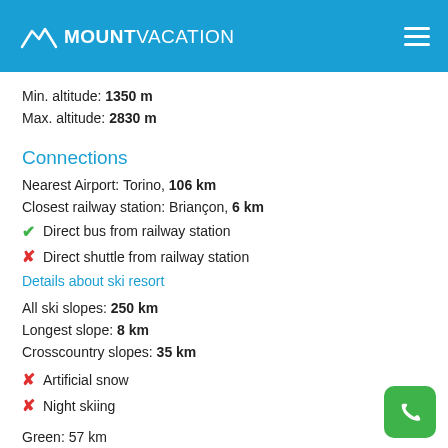MOUNTVACATION
Min. altitude: 1350 m
Max. altitude: 2830 m
Connections
Nearest Airport: Torino, 106 km
Closest railway station: Briançon, 6 km
✔ Direct bus from railway station
✘ Direct shuttle from railway station
Details about ski resort
All ski slopes: 250 km
Longest slope: 8 km
Crosscountry slopes: 35 km
✘ Artificial snow
✘ Night skiing
Green: 57 km
Blue: 81 km
Red: 80 km
Black: 32 km
Features